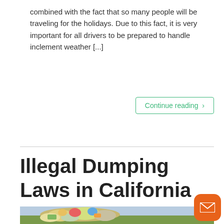combined with the fact that so many people will be traveling for the holidays. Due to this fact, it is very important for all drivers to be prepared to handle inclement weather [...]
Continue reading ›
Illegal Dumping Laws in California
[Figure (photo): Photo of illegally dumped garbage/trash bags piled up outdoors on grass near water]